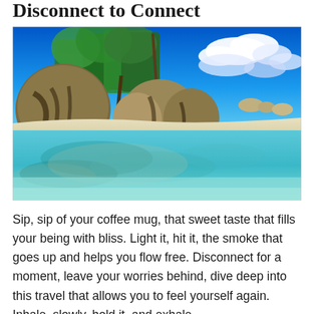Disconnect to Connect
[Figure (photo): Tropical beach scene with large granite boulders on the left, lush green palm trees, white sandy shore, and clear turquoise water in the foreground. Bright blue sky with white clouds in the upper right.]
Sip, sip of your coffee mug, that sweet taste that fills your being with bliss. Light it, hit it, the smoke that goes up and helps you flow free. Disconnect for a moment, leave your worries behind, dive deep into this travel that allows you to feel yourself again. Inhale, slowly, hold it, and exhale,